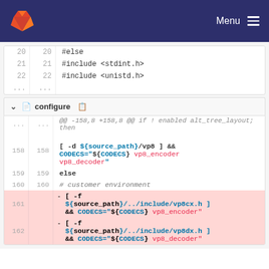GitLab — Menu
| old_ln | new_ln | code |
| --- | --- | --- |
| 20 | 20 | #else |
| 21 | 21 | #include <stdint.h> |
| 22 | 22 | #include <unistd.h> |
| ... | ... |  |
configure
| old_ln | new_ln | code |
| --- | --- | --- |
| ... | ... | @@ -158,8 +158,8 @@ if ! enabled alt_tree_layout; then |
| 158 | 158 | [ -d ${source_path}/vp8 ] && CODECS="${CODECS} vp8_encoder vp8_decoder" |
| 159 | 159 | else |
| 160 | 160 | # customer environment |
| 161 |  | - [ -f ${source_path}/../include/vp8cx.h ] && CODECS="${CODECS} vp8_encoder" |
| 162 |  | - [ -f ${source_path}/../include/vp8dx.h ] && CODECS="${CODECS} vp8_decoder" |